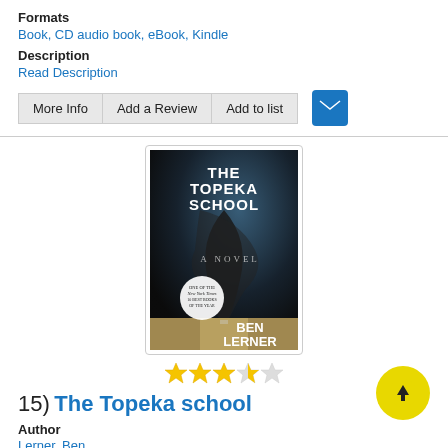Formats
Book, CD audio book, eBook, Kindle
Description
Read Description
More Info | Add a Review | Add to list
[Figure (illustration): Book cover of 'The Topeka School' by Ben Lerner. Dark tornado background with white bold text reading THE TOPEKA SCHOOL at top, A NOVEL in center, and BEN LERNER at bottom. Circular badge reads 'One of the New York Times 10 best books of the year'.]
3.5 stars rating
15)  The Topeka school
Author
Lerner, Ben
Formats